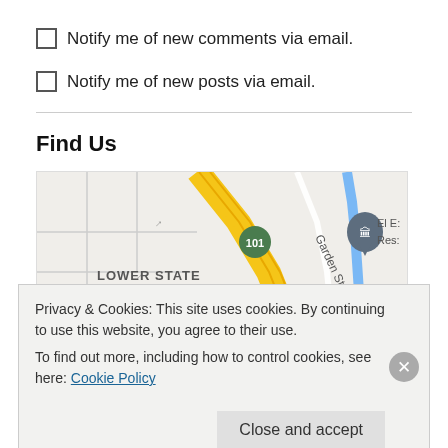Notify me of new comments via email.
Notify me of new posts via email.
Find Us
[Figure (map): Street map showing Lower State, The Funk Zone, Garden St, El Estero area in Santa Barbara with highway 101]
Privacy & Cookies: This site uses cookies. By continuing to use this website, you agree to their use. To find out more, including how to control cookies, see here: Cookie Policy
Close and accept